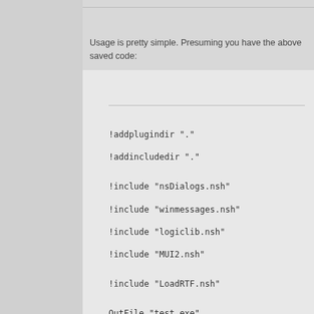Usage is pretty simple. Presuming you have the above saved code:
!addplugindir "."
!addincludedir "."
!include "nsDialogs.nsh"
!include "winmessages.nsh"
!include "logiclib.nsh"
!include "MUI2.nsh"
!include "LoadRTF.nsh"
OutFile "test.exe"